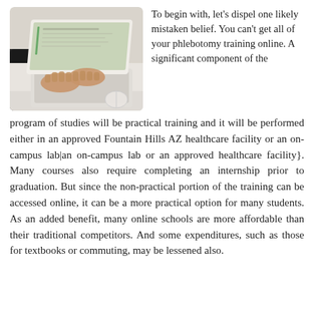[Figure (photo): A person's hands typing on a white laptop computer on a white desk, viewed from above at an angle. A mouse is visible beside the laptop.]
To begin with, let's dispel one likely mistaken belief. You can't get all of your phlebotomy training online. A significant component of the program of studies will be practical training and it will be performed either in an approved Fountain Hills AZ healthcare facility or an on-campus lab|an on-campus lab or an approved healthcare facility}. Many courses also require completing an internship prior to graduation. But since the non-practical portion of the training can be accessed online, it can be a more practical option for many students. As an added benefit, many online schools are more affordable than their traditional competitors. And some expenditures, such as those for textbooks or commuting, may be lessened also.